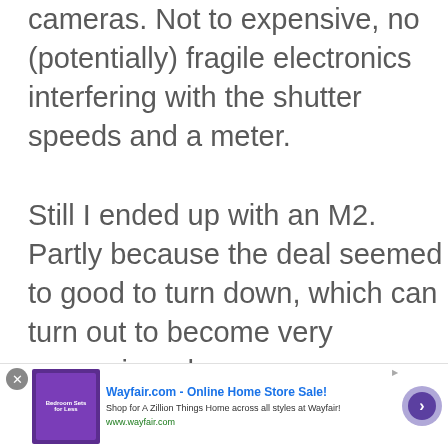cameras. Not to expensive, no (potentially) fragile electronics interfering with the shutter speeds and a meter.

Still I ended up with an M2. Partly because the deal seemed to good to turn down, which can turn out to become very expensive when
[Figure (other): Advertisement banner for Wayfair.com - Online Home Store Sale! with thumbnail image, text description, and navigation arrow button]